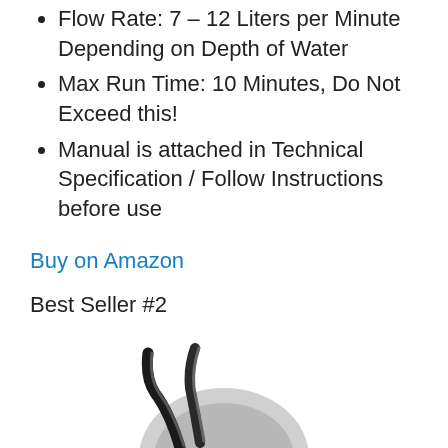Flow Rate: 7 – 12 Liters per Minute Depending on Depth of Water
Max Run Time: 10 Minutes, Do Not Exceed this!
Manual is attached in Technical Specification / Follow Instructions before use
Buy on Amazon
Best Seller #2
[Figure (photo): Product image of a pump or water device, partially visible at the bottom of the page, showing black and grey components]